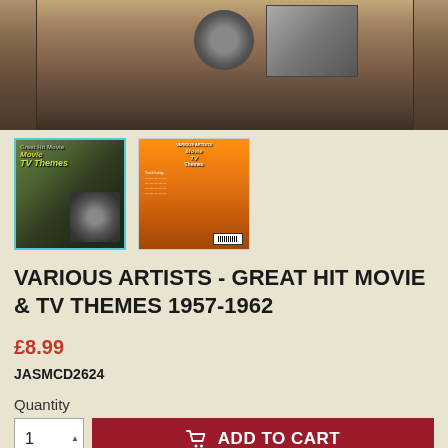[Figure (photo): Hero image of vintage film camera equipment — a movie camera on a tripod with microphone, warm brown tones]
[Figure (photo): Thumbnail 1 (selected, cyan border): Front cover of 'Great Hit Movie & TV Themes 1957-1962' CD — dark background with camera imagery and yellow/green title text]
[Figure (photo): Thumbnail 2: Back cover of 'Great Hit Movie & TV Themes 1957-1962' CD — orange background with tracklist]
VARIOUS ARTISTS - GREAT HIT MOVIE & TV THEMES 1957-1962
£8.99
JASMCD2624
Quantity
ADD TO CART